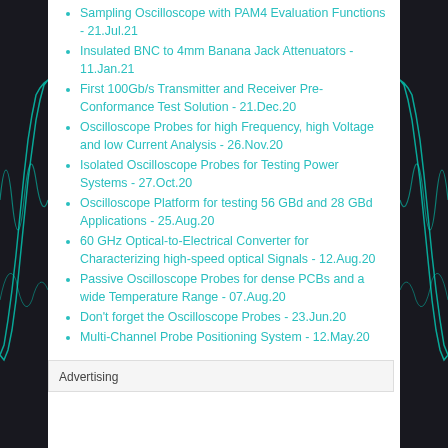Sampling Oscilloscope with PAM4 Evaluation Functions - 21.Jul.21
Insulated BNC to 4mm Banana Jack Attenuators - 11.Jan.21
First 100Gb/s Transmitter and Receiver Pre-Conformance Test Solution - 21.Dec.20
Oscilloscope Probes for high Frequency, high Voltage and low Current Analysis - 26.Nov.20
Isolated Oscilloscope Probes for Testing Power Systems - 27.Oct.20
Oscilloscope Platform for testing 56 GBd and 28 GBd Applications - 25.Aug.20
60 GHz Optical-to-Electrical Converter for Characterizing high-speed optical Signals - 12.Aug.20
Passive Oscilloscope Probes for dense PCBs and a wide Temperature Range - 07.Aug.20
Don't forget the Oscilloscope Probes - 23.Jun.20
Multi-Channel Probe Positioning System - 12.May.20
Advertising